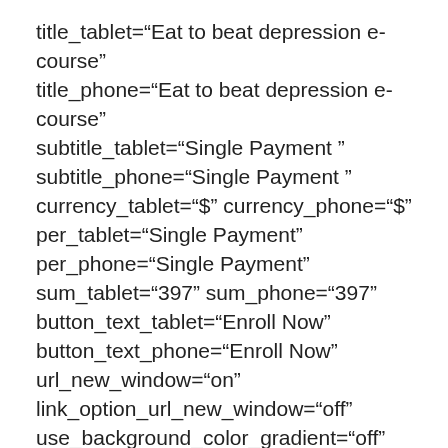title_tablet="Eat to beat depression e-course" title_phone="Eat to beat depression e-course" subtitle_tablet="Single Payment " subtitle_phone="Single Payment " currency_tablet="$" currency_phone="$" per_tablet="Single Payment" per_phone="Single Payment" sum_tablet="397" sum_phone="397" button_text_tablet="Enroll Now" button_text_phone="Enroll Now" url_new_window="on" link_option_url_new_window="off" use_background_color_gradient="off" background_color_gradient_start="#2b87da" background_color_gradient_end="#29c4a9" background_color_gradient_type="linear" background_color_gradient_direction="180deg" background_color_gradient_direction_tablet="180d